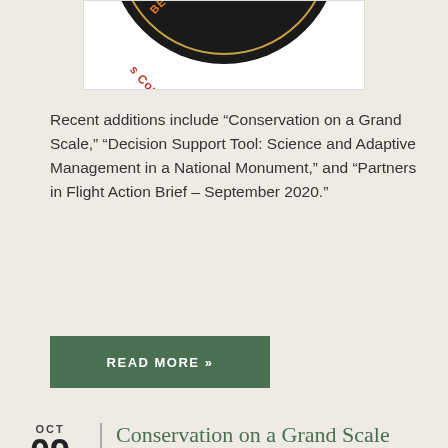[Figure (logo): Circular logo with dark background, orange/red text reading 'Connect Our W...' partially visible, bottom arc reads 's Connect Our W']
Recent additions include “Conservation on a Grand Scale,” “Decision Support Tool: Science and Adaptive Management in a National Monument,” and “Partners in Flight Action Brief – September 2020.”
READ MORE »
OCT
09
2020
Conservation on a Grand Scale (1992)